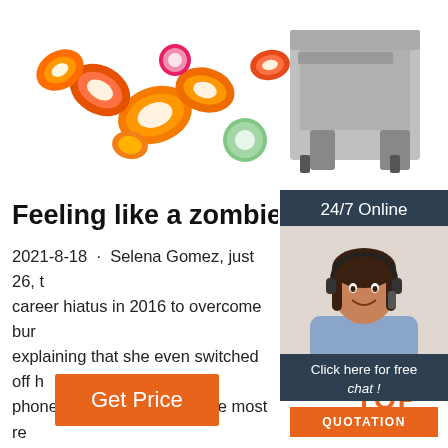[Figure (photo): Food slicer machine with vegetable slices (orange pepper, cucumber, radish, carrot) scattered around it on white background]
Feeling like a zombie - The Jo…
2021-8-18 · Selena Gomez, just 26, took a career hiatus in 2016 to overcome burnout, explaining that she even switched off her phone for 90 days. 'It was the most refreshing, calming, rejuvenating feeling,' the actress explained. 'Now I rarely pick up my phone, only limited people have access to me.'.
[Figure (photo): Customer service agent - woman with headset, smiling, with 24/7 Online badge, Click here for free chat text, and QUOTATION button]
Get Price
[Figure (logo): TOP logo with orange dots arranged in triangle above the word TOP in orange]